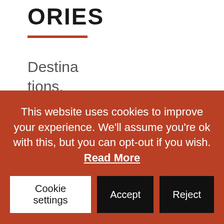ORIES
Destinations, experiences & yachts
Neo Yachting world
This website uses cookies to improve your experience. We'll assume you're ok with this, but you can opt-out if you wish. Read More